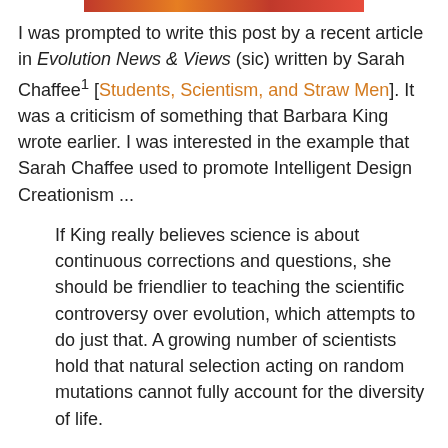[Figure (photo): Partial image strip visible at top of page, cropped red/orange colored image]
I was prompted to write this post by a recent article in Evolution News & Views (sic) written by Sarah Chaffee1 [Students, Scientism, and Straw Men]. It was a criticism of something that Barbara King wrote earlier. I was interested in the example that Sarah Chaffee used to promote Intelligent Design Creationism ...
If King really believes science is about continuous corrections and questions, she should be friendlier to teaching the scientific controversy over evolution, which attempts to do just that. A growing number of scientists hold that natural selection acting on random mutations cannot fully account for the diversity of life.
In The Edge of Evolution, biochemist Michael Behe examines mutations necessary to develop chloroquine resistance by malaria parasites, and concludes that two simultaneous mutations is the most evolution can accomplish. Furthermore, based on population sizes and frequency of